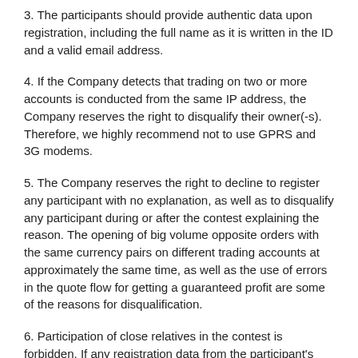3. The participants should provide authentic data upon registration, including the full name as it is written in the ID and a valid email address.
4. If the Company detects that trading on two or more accounts is conducted from the same IP address, the Company reserves the right to disqualify their owner(-s). Therefore, we highly recommend not to use GPRS and 3G modems.
5. The Company reserves the right to decline to register any participant with no explanation, as well as to disqualify any participant during or after the contest explaining the reason. The opening of big volume opposite orders with the same currency pairs on different trading accounts at approximately the same time, as well as the use of errors in the quote flow for getting a guaranteed profit are some of the reasons for disqualification.
6. Participation of close relatives in the contest is forbidden. If any registration data from the participant's account coincides with the registration data of another participant, the company may regard this as the reason for disqualification.